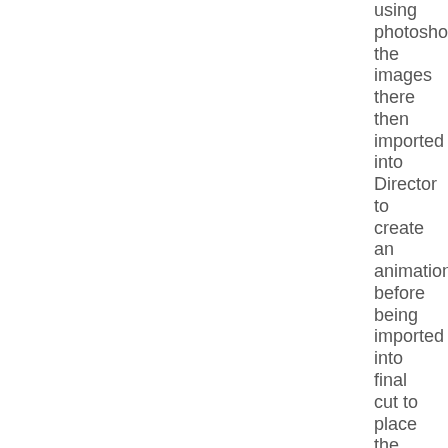using photoshop, the images there then imported into Director to create an animation before being imported into final cut to place the multiples side by side